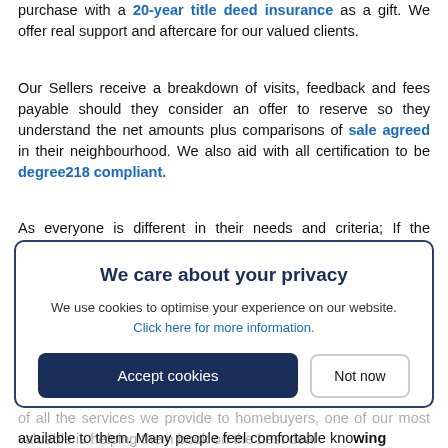purchase with a 20-year title deed insurance as a gift. We offer real support and aftercare for our valued clients.
Our Sellers receive a breakdown of visits, feedback and fees payable should they consider an offer to reserve so they understand the net amounts plus comparisons of sale agreed in their neighbourhood. We also aid with all certification to be degree218 compliant.
As everyone is different in their needs and criteria; If the property you want is not already on our books, VIP Almeria are specialists in sourcing property investments to suit every need via our excellent and diligent collaborators. We use only like minded agents in our area and abroad who are equally educated. We offer absolute transparency at all times and we also consider us as a lead agent (buyer's agent) we will be delighted to present all the options the area has, including the...
of all the services we provide to homebuyers, one of our most valuable is helping them book on the best deal available to them. Many people feel comfortable knowing
We care about your privacy
We use cookies to optimise your experience on our website. Click here for more information.